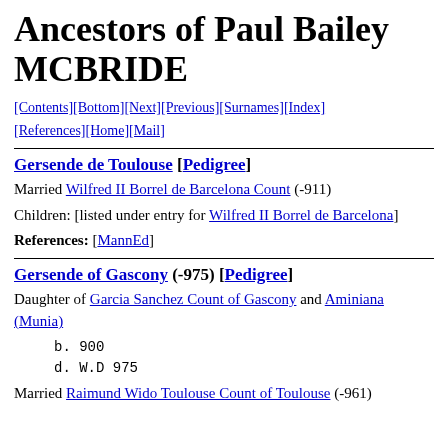Ancestors of Paul Bailey MCBRIDE
[Contents][Bottom][Next][Previous][Surnames][Index][References][Home][Mail]
Gersende de Toulouse [Pedigree]
Married Wilfred II Borrel de Barcelona Count (-911)
Children: [listed under entry for Wilfred II Borrel de Barcelona]
References: [MannEd]
Gersende of Gascony (-975) [Pedigree]
Daughter of Garcia Sanchez Count of Gascony and Aminiana (Munia)
b. 900
d. W.D 975
Married Raimund Wido Toulouse Count of Toulouse (-961)